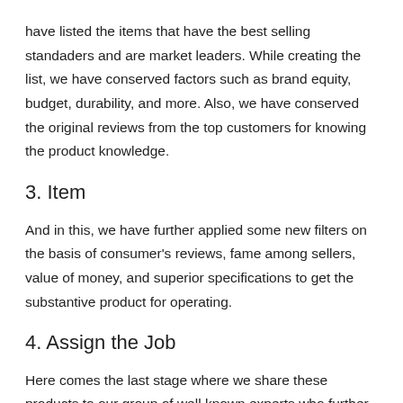have listed the items that have the best selling standaders and are market leaders. While creating the list, we have conserved factors such as brand equity, budget, durability, and more. Also, we have conserved the original reviews from the top customers for knowing the product knowledge.
3. Item
And in this, we have further applied some new filters on the basis of consumer's reviews, fame among sellers, value of money, and superior specifications to get the substantive product for operating.
4. Assign the Job
Here comes the last stage where we share these products to our group of well known experts who further run the final